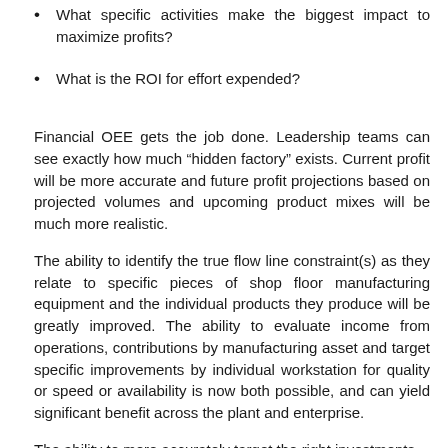What specific activities make the biggest impact to maximize profits?
What is the ROI for effort expended?
Financial OEE gets the job done. Leadership teams can see exactly how much “hidden factory” exists. Current profit will be more accurate and future profit projections based on projected volumes and upcoming product mixes will be much more realistic.
The ability to identify the true flow line constraint(s) as they relate to specific pieces of shop floor manufacturing equipment and the individual products they produce will be greatly improved. The ability to evaluate income from operations, contributions by manufacturing asset and target specific improvements by individual workstation for quality or speed or availability is now both possible, and can yield significant benefit across the plant and enterprise.
The ability to more accurately target the right investments